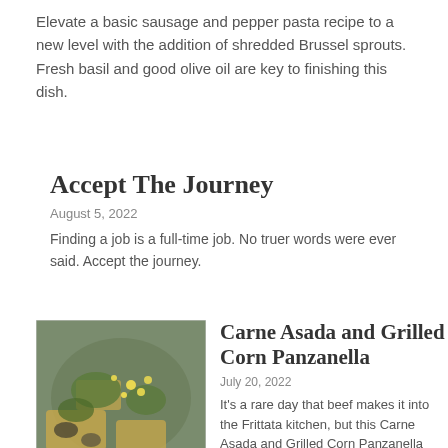Elevate a basic sausage and pepper pasta recipe to a new level with the addition of shredded Brussel sprouts. Fresh basil and good olive oil are key to finishing this dish.
Accept The Journey
August 5, 2022
Finding a job is a full-time job. No truer words were ever said. Accept the journey.
[Figure (photo): Photo of Carne Asada and Grilled Corn Panzanella dish with vegetables, grilled meat, corn, and bread.]
Carne Asada and Grilled Corn Panzanella
July 20, 2022
It's a rare day that beef makes it into the Frittata kitchen, but this Carne Asada and Grilled Corn Panzanella recipe made the grade.
[Figure (photo): Two side-by-side food photos for Frittata Test Kitchen article.]
Frittata Test Kitchen –